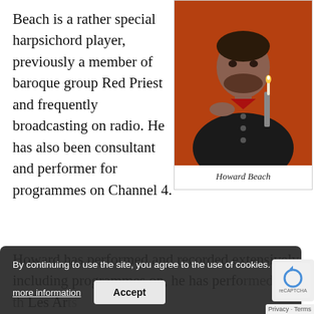Beach is a rather special harpsichord player, previously a member of baroque group Red Priest and frequently broadcasting on radio. He has also been consultant and performer for programmes on Channel 4.
[Figure (photo): Portrait photo of Howard Beach, a man in a dark jacket holding a candle against an orange background]
Howard Beach
Howard has performed and recorded extensively, including programmes on, has performed with Les Ar Florissants, the Apollo Chamber Orchestra a